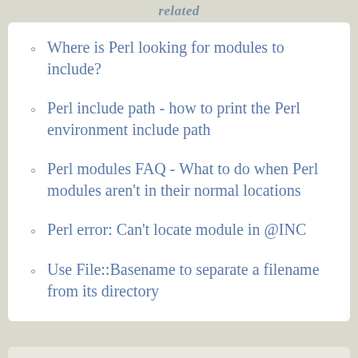related
Where is Perl looking for modules to include?
Perl include path - how to print the Perl environment include path
Perl modules FAQ - What to do when Perl modules aren't in their normal locations
Perl error: Can't locate module in @INC
Use File::Basename to separate a filename from its directory
books i've written